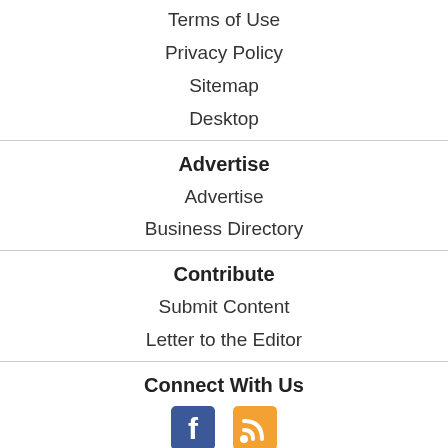Terms of Use
Privacy Policy
Sitemap
Desktop
Advertise
Advertise
Business Directory
Contribute
Submit Content
Letter to the Editor
Connect With Us
[Figure (illustration): Facebook icon (blue square with white f) and RSS feed icon (orange square with white wifi signal symbol)]
Phillips County News